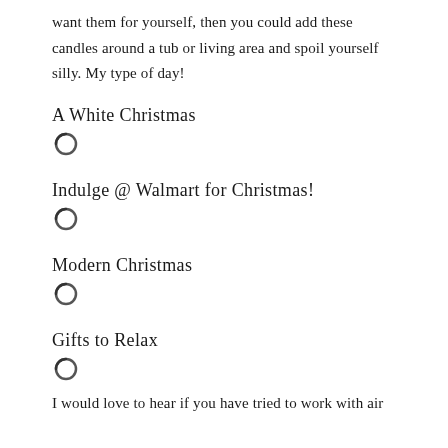want them for yourself, then you could add these candles around a tub or living area and spoil yourself silly. My type of day!
A White Christmas
[Figure (other): Radio button / loading spinner icon]
Indulge @ Walmart for Christmas!
[Figure (other): Radio button / loading spinner icon]
Modern Christmas
[Figure (other): Radio button / loading spinner icon]
Gifts to Relax
[Figure (other): Radio button / loading spinner icon]
I would love to hear if you have tried to work with air